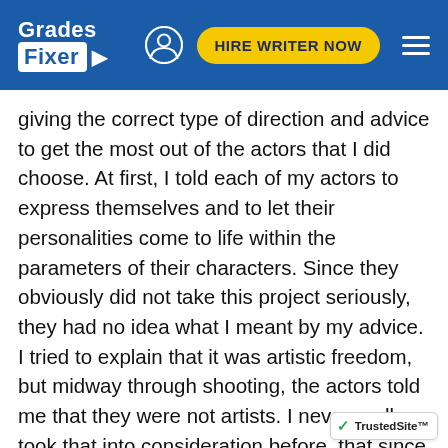Grades Fixer | HIRE WRITER NOW
giving the correct type of direction and advice to get the most out of the actors that I did choose. At first, I told each of my actors to express themselves and to let their personalities come to life within the parameters of their characters. Since they obviously did not take this project seriously, they had no idea what I meant by my advice. I tried to explain that it was artistic freedom, but midway through shooting, the actors told me that they were not artists. I never really took that into consideration before, that since they did not have the same mindset as me, they could not really understand what I was saying. This is essentially why I blame myself. By the time I gave them specific direction and told them exactly how I wanted things done, it was too late. They had already created a loose idea of how they were going to act based on how they acted in the initi...